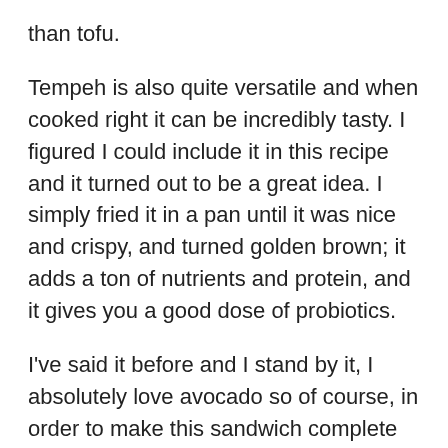than tofu.
Tempeh is also quite versatile and when cooked right it can be incredibly tasty. I figured I could include it in this recipe and it turned out to be a great idea. I simply fried it in a pan until it was nice and crispy, and turned golden brown; it adds a ton of nutrients and protein, and it gives you a good dose of probiotics.
I've said it before and I stand by it, I absolutely love avocado so of course, in order to make this sandwich complete and special a few slices of avocado had to be present. Avocado goes great with tempeh just add a dash of salt to enhance its flavour and you have a great combo right there.